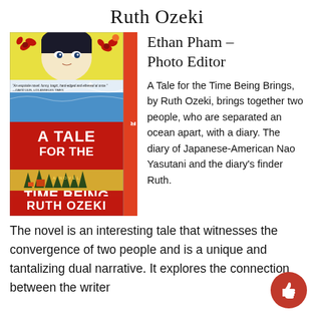Ruth Ozeki
[Figure (photo): Book cover of 'A Tale for the Time Being' by Ruth Ozeki — New York Times Bestseller. Cover shows a stylized illustration with a woman's face at top, ocean waves in the middle, a red band with the title, pine trees and mountains in golden tones, and the author's name at the bottom. Red spine reads NEW YORK TIMES BESTSELLER.]
Ethan Pham – Photo Editor
A Tale for the Time Being Brings, by Ruth Ozeki, brings together two people, who are separated an ocean apart, with a diary. The diary of Japanese-American Nao Yasutani and the diary's finder Ruth. The novel is an interesting tale that witnesses the convergence of two people and is a unique and tantalizing dual narrative. It explores the connection between the writer